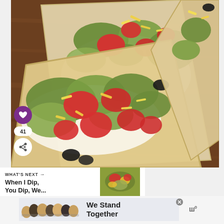[Figure (photo): Close-up photo of Mexican-style flatbread pizza topped with guacamole, diced tomatoes, shredded cheese, olives, and sour cream on a wooden cutting board]
41
WHAT'S NEXT → When I Dip, You Dip, We...
[Figure (photo): Small thumbnail of a dip dish]
We Stand Together